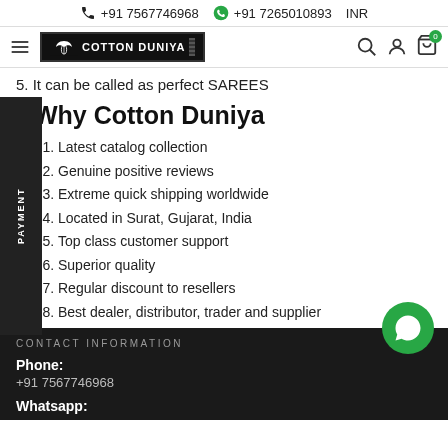+91 7567746968  +91 7265010893  INR
[Figure (logo): Cotton Duniya logo with lotus icon on black background]
5. It can be called as perfect SAREES
Why Cotton Duniya
1. Latest catalog collection
2. Genuine positive reviews
3. Extreme quick shipping worldwide
4. Located in Surat, Gujarat, India
5. Top class customer support
6. Superior quality
7. Regular discount to resellers
8. Best dealer, distributor, trader and supplier
CONTACT INFORMATION
Phone:
+91 7567746968
Whatsapp: